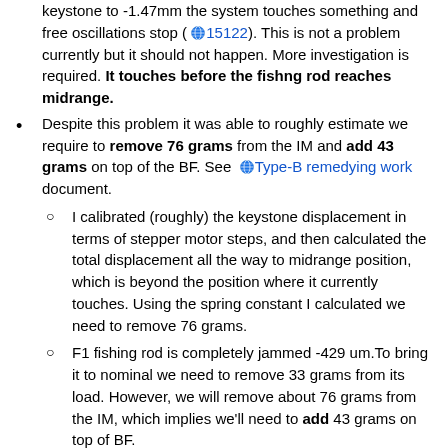keystone to -1.47mm the system touches something and free oscillations stop (🌐 15122). This is not a problem currently but it should not happen. More investigation is required. It touches before the fishng rod reaches midrange.
Despite this problem it was able to roughly estimate we require to remove 76 grams from the IM and add 43 grams on top of the BF. See 🌐 Type-B remedying work document.
I calibrated (roughly) the keystone displacement in terms of stepper motor steps, and then calculated the total displacement all the way to midrange position, which is beyond the position where it currently touches. Using the spring constant I calculated we need to remove 76 grams.
F1 fishing rod is completely jammed -429 um.To bring it to nominal we need to remove 33 grams from its load. However, we will remove about 76 grams from the IM, which implies we'll need to add 43 grams on top of BF.
We have a record of the mass we put on top of SR3 IM (🌐 Type-B remedying work) and it seems hard to remove 76 grams in a...